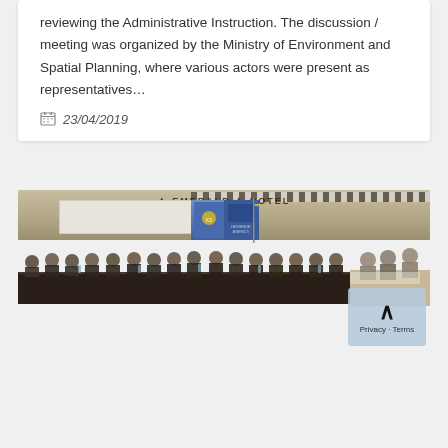reviewing the Administrative Instruction. The discussion / meeting was organized by the Ministry of Environment and Spatial Planning, where various actors were present as representatives…
23/04/2019
[Figure (photo): Photo of a large conference meeting room with many people seated around a long table, banners and flags in the background, Emerald Hotel sign visible.]
CONFERENCE WITH THE MINISTRY OF JUSTICE
On April 18, 2019, the Retail Association (RRSHP) participated in the conference organized by the Ministry of Justice which took place in the framework of the Functional Review process of the Rule of Law Sector, on the topic of establishing the Commercial Court, which will be the address for dealing with commercial